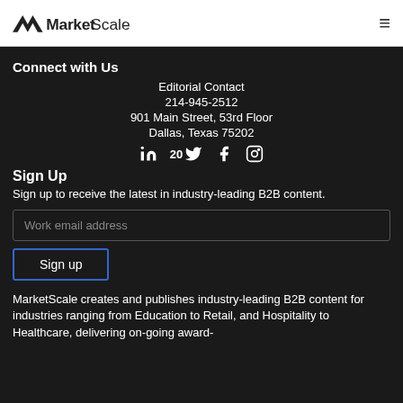MarketScale
Connect with Us
Editorial Contact
214-945-2512
901 Main Street, 53rd Floor
Dallas, Texas 75202
in  20  Twitter  Facebook  Instagram
Sign Up
Sign up to receive the latest in industry-leading B2B content.
Work email address
Sign up
MarketScale creates and publishes industry-leading B2B content for industries ranging from Education to Retail, and Hospitality to Healthcare, delivering on-going award-